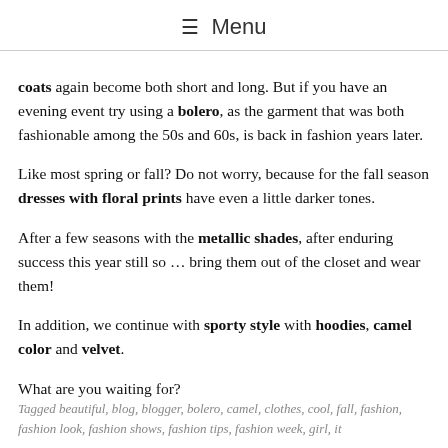≡ Menu
coats again become both short and long. But if you have an evening event try using a bolero, as the garment that was both fashionable among the 50s and 60s, is back in fashion years later.
Like most spring or fall? Do not worry, because for the fall season dresses with floral prints have even a little darker tones.
After a few seasons with the metallic shades, after enduring success this year still so … bring them out of the closet and wear them!
In addition, we continue with sporty style with hoodies, camel color and velvet.
What are you waiting for?
Tagged beautiful, blog, blogger, bolero, camel, clothes, cool, fall, fashion, fashion look, fashion shows, fashion tips, fashion week, girl, it